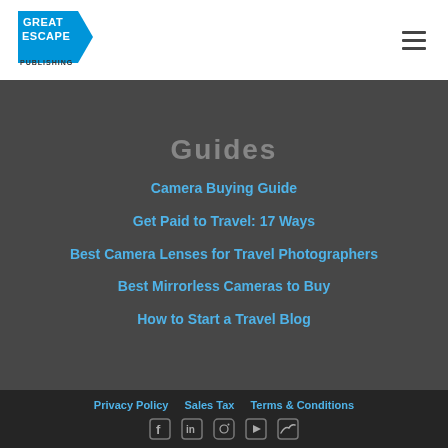[Figure (logo): Great Escape Publishing logo — blue pennant/flag shape with white bold text 'GREAT ESCAPE' and 'PUBLISHING' below]
Guides
Camera Buying Guide
Get Paid to Travel: 17 Ways
Best Camera Lenses for Travel Photographers
Best Mirrorless Cameras to Buy
How to Start a Travel Blog
Privacy Policy   Sales Tax   Terms & Conditions
[Figure (other): Social media icons row: Facebook, LinkedIn/other, Instagram, YouTube, Twitter]